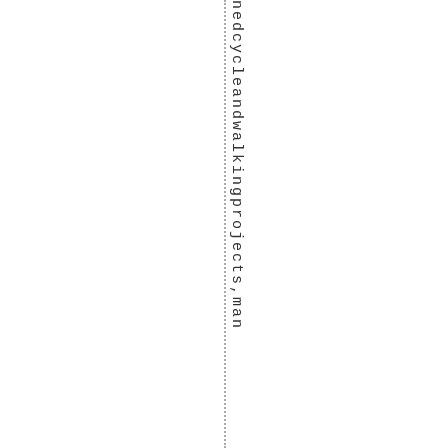nedcycleandwalkingprojects,man